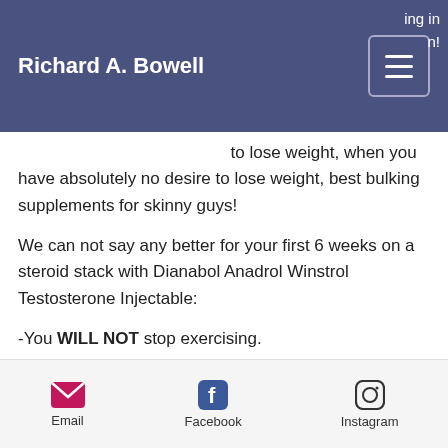Richard A. Bowell
to lose weight, when you have absolutely no desire to lose weight, best bulking supplements for skinny guys!
We can not say any better for your first 6 weeks on a steroid stack with Dianabol Anadrol Winstrol Testosterone Injectable:
-You WILL NOT stop exercising.
-You WILL NOT stop exercising, once you begin the Dianabol Anadrol Winstrol Anadrol Testosterone Injectable, you will continue to train.
Email  Facebook  Instagram